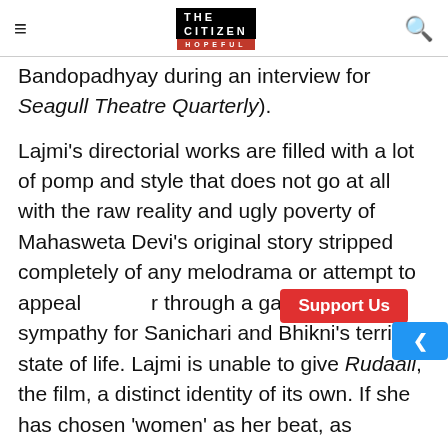THE CITIZEN — IS HOPEFUL
Bandopadhyay during an interview for Seagull Theatre Quarterly).
Lajmi's directorial works are filled with a lot of pomp and style that does not go at all with the raw reality and ugly poverty of Mahasweta Devi's original story stripped completely of any melodrama or attempt to appeal r through a garnering of sympathy for Sanichari and Bhikni's terrible state of life. Lajmi is unable to give Rudaali, the film, a distinct identity of its own. If she has chosen 'women' as her beat, as